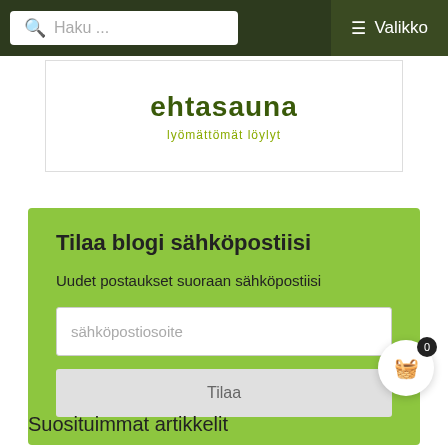Haku ... Valikko
[Figure (logo): ehtasauna logo with tagline 'lyömättömät löylyt']
Tilaa blogi sähköpostiisi
Uudet postaukset suoraan sähköpostiisi
sähköpostiosoite
Tilaa
Suosituimmat artikkelit